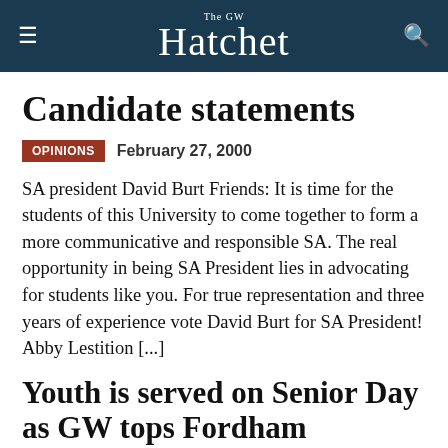The GW Hatchet
Candidate statements
OPINIONS  February 27, 2000
SA president David Burt Friends: It is time for the students of this University to come together to form a more communicative and responsible SA. The real opportunity in being SA President lies in advocating for students like you. For true representation and three years of experience vote David Burt for SA President! Abby Lestition [...]
Youth is served on Senior Day as GW tops Fordham